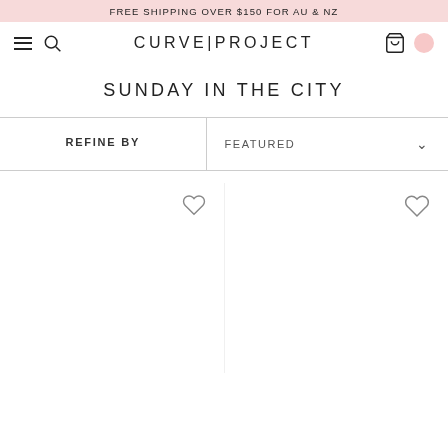FREE SHIPPING OVER $150 FOR AU & NZ
CURVE|PROJECT
SUNDAY IN THE CITY
REFINE BY
FEATURED
[Figure (other): Product grid with two items, each showing a heart/wishlist icon outline]
[Figure (other): Second product item with heart/wishlist icon outline]